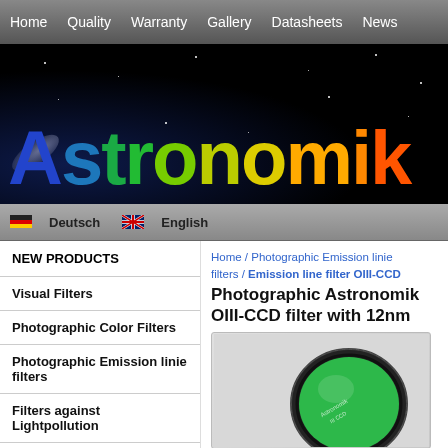Home  Quality  Warranty  Gallery  Datasheets  News
[Figure (logo): Astronomik logo with colorful gradient text on starry night sky background]
🇩🇪 Deutsch   🇬🇧 English
NEW PRODUCTS
Visual Filters
Photographic Color Filters
Photographic Emission linie filters
Filters against Lightpollution
UV and IR-Blocker
Home / Photographic Emission linie filters / Emission line filter OIII-CCD
Photographic Astronomik OIII-CCD filter with 12nm
[Figure (photo): Astronomik OIII-CCD filter - circular optical filter with green glass and black metal ring]